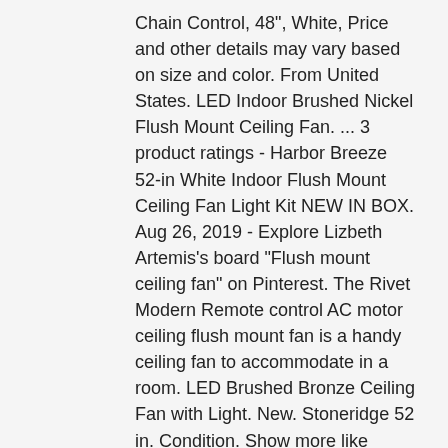Chain Control, 48", White, Price and other details may vary based on size and color. From United States. LED Indoor Brushed Nickel Flush Mount Ceiling Fan. ... 3 product ratings - Harbor Breeze 52-in White Indoor Flush Mount Ceiling Fan Light Kit NEW IN BOX. Aug 26, 2019 - Explore Lizbeth Artemis's board "Flush mount ceiling fan" on Pinterest. The Rivet Modern Remote control AC motor ceiling flush mount fan is a handy ceiling fan to accommodate in a room. LED Brushed Bronze Ceiling Fan with Light. New. Stoneridge 52 in. Condition. Show more like these. Bronze Hugger LED Ceiling Fan with Light Kit, Glendale 42 in. * CLASSIC & REFINED: Farmhouse flush mount ceiling light featuring a clear, unique glass shade and a beautiful, decorative black finish. In small rooms that have low ceilings, it will be difficult to install a ceiling fan with light that hangs 7 feet above the floor as per the NEC regulations.. Semi-flush mount luminaires need similar installation routine. by Home Decorators Collection (1093) $ 139 00. Shown in Picture: The Velo Flush Mount LED Ceiling Fan from Modern Fan